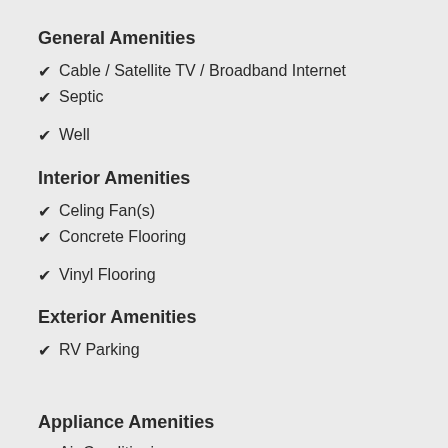General Amenities
Cable / Satellite TV / Broadband Internet
Septic
Well
Interior Amenities
Celing Fan(s)
Concrete Flooring
Vinyl Flooring
Exterior Amenities
RV Parking
Appliance Amenities
Air Conditioning